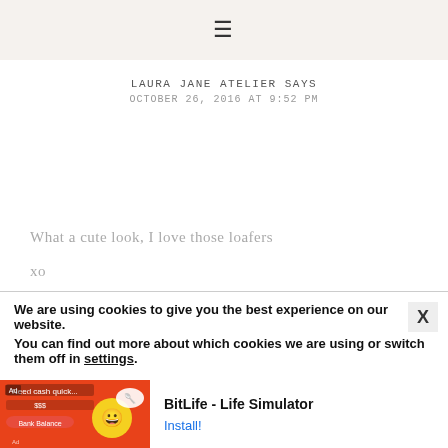☰
LAURA JANE ATELIER SAYS
OCTOBER 26, 2016 AT 9:52 PM
What a cute look, I love those loafers

xo

http://www.laurajaneatelier.com
Reply
We are using cookies to give you the best experience on our website.
You can find out more about which cookies we are using or switch them off in settings.
[Figure (screenshot): Ad banner for BitLife - Life Simulator mobile app with orange background and app icon]